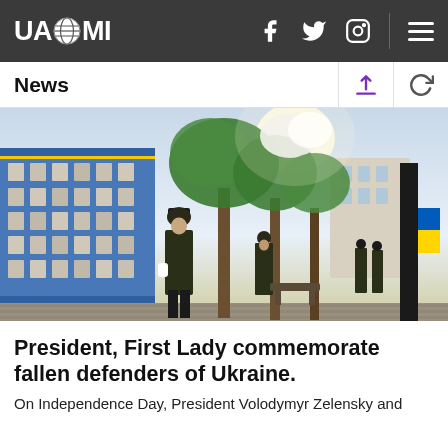UAZMI
News
[Figure (photo): Military honor guards in dress uniforms standing at attention along a wall covered with photos of fallen Ukrainian defenders, flanked by trees and Ukrainian flags, on a sunny day.]
President, First Lady commemorate fallen defenders of Ukraine.
On Independence Day, President Volodymyr Zelensky and